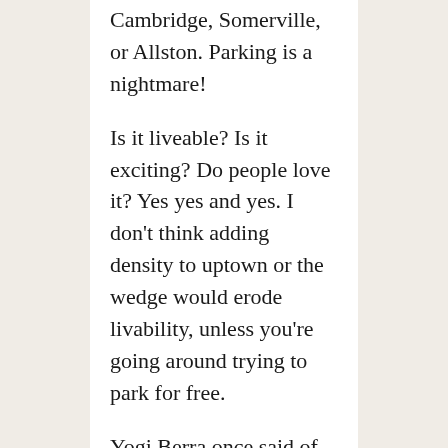Cambridge, Somerville, or Allston. Parking is a nightmare!
Is it liveable? Is it exciting? Do people love it? Yes yes and yes. I don't think adding density to uptown or the wedge would erode livability, unless you're going around trying to park for free.
Yogi Berra once said of one of his favorite restaurants, “Nobody goes there any more, it’s too crowded.” That’s what this